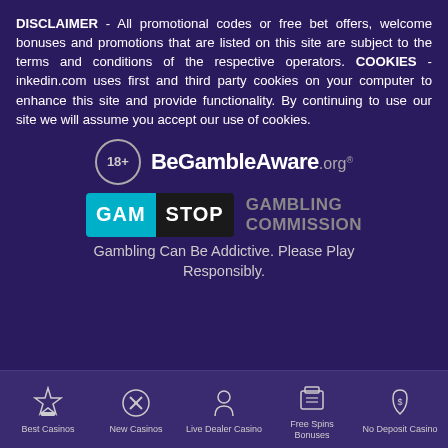DISCLAIMER - All promotional codes or free bet offers, welcome bonuses and promotions that are listed on this site are subject to the terms and conditions of the respective operators. COOKIES - inkedin.com uses first and third party cookies on your computer to enhance this site and provide functionality. By continuing to use our site we will assume you accept our use of cookies.
[Figure (logo): 18+ BeGambleAware.org logo with circle containing 18+ and bold text]
[Figure (logo): GamStop logo alongside Gambling Commission text]
Gambling Can Be Addictive. Please Play Responsibly.
Best Casinos | New Casinos | Live Dealer Casino | Free Spins Bonuses | No Deposit Casino